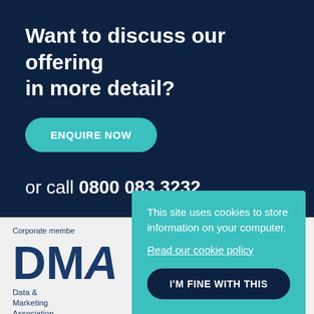Want to discuss our offering in more detail?
ENQUIRE NOW
or call 0800 083 3232
This site uses cookies to store information on your computer.
Read our cookie policy
I'M FINE WITH THIS
Corporate member
[Figure (logo): DMA Data & Marketing Association logo]